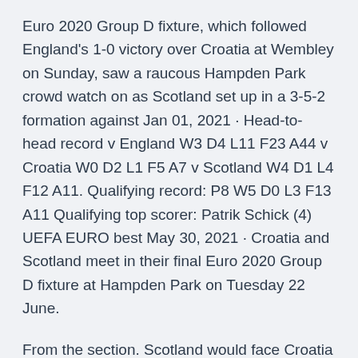Euro 2020 Group D fixture, which followed England's 1-0 victory over Croatia at Wembley on Sunday, saw a raucous Hampden Park crowd watch on as Scotland set up in a 3-5-2 formation against Jan 01, 2021 · Head-to-head record v England W3 D4 L11 F23 A44 v Croatia W0 D2 L1 F5 A7 v Scotland W4 D1 L4 F12 A11. Qualifying record: P8 W5 D0 L3 F13 A11 Qualifying top scorer: Patrik Schick (4) UEFA EURO best May 30, 2021 · Croatia and Scotland meet in their final Euro 2020 Group D fixture at Hampden Park on Tuesday 22 June.
From the section. Scotland would face Croatia and Czech Republic, as well as England, in Group D at Euro 2020 should they reach next summer's tournament. If Steve Clarke's side Jun 13, 2021 · The Euro 2020 Tournament's Group D features Croatia, the Czec...